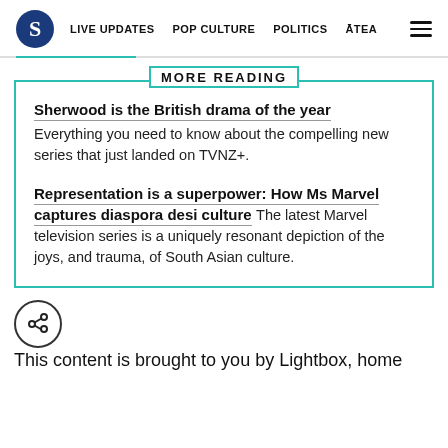S | LIVE UPDATES | POP CULTURE | POLITICS | ĀTEA
MORE READING
Sherwood is the British drama of the year
Everything you need to know about the compelling new series that just landed on TVNZ+.
Representation is a superpower: How Ms Marvel captures diaspora desi culture The latest Marvel television series is a uniquely resonant depiction of the joys, and trauma, of South Asian culture.
[Figure (illustration): Share icon inside a circle]
This content is brought to you by Lightbox, home